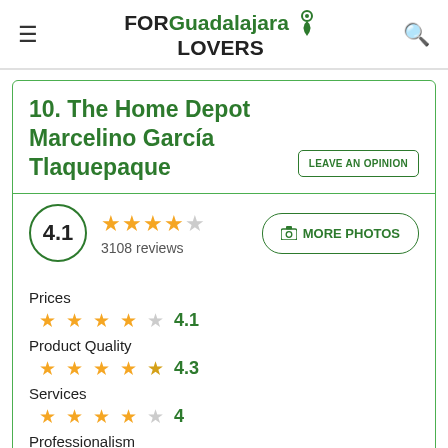FOR Guadalajara LOVERS
10. The Home Depot Marcelino García Tlaquepaque
LEAVE AN OPINION
4.1 — 3108 reviews
MORE PHOTOS
Prices
4.1
Product Quality
4.3
Services
4
Professionalism
4.1